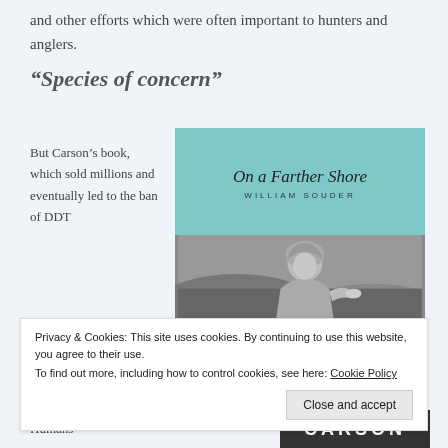and other efforts which were often important to hunters and anglers.
“Species of concern”
But Carson’s book, which sold millions and eventually led to the ban of DDT
[Figure (photo): Book cover of 'On a Farther Shore' by William Souder, with a light blue upper half showing the title in italic serif font and author name in spaced sans-serif, and a lower half showing a black-and-white photograph of a woman (Rachel Carson) looking at something she is holding near rocks or the seashore.]
Privacy & Cookies: This site uses cookies. By continuing to use this website, you agree to their use.
To find out more, including how to control cookies, see here: Cookie Policy
Close and accept
Humans
[Figure (photo): Partial view of a book cover showing 'CARSON' in large bold white letters on a dark background.]